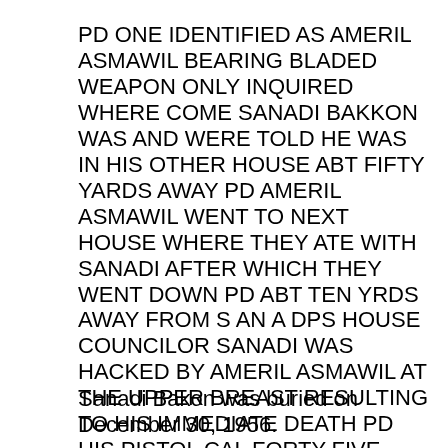PD ONE IDENTIFIED AS AMERIL ASMAWIL BEARING BLADED WEAPON ONLY INQUIRED WHERE COME SANADI BAKKON WAS AND WERE TOLD HE WAS IN HIS OTHER HOUSE ABT FIFTY YARDS AWAY PD AMERIL ASMAWIL WENT TO NEXT HOUSE WHERE THEY ATE WITH SANADI AFTER WHICH THEY WENT DOWN PD ABT TEN YRDS AWAY FROM S AN A DPS HOUSE COUNCILOR SANADI WAS HACKED BY AMERIL ASMAWIL AT THE UPPER BREAST RESULTING TO HIS IMMEDIATE DEATH PD HIS PISTOL CAL FORTY-FIVE LICENSED WAS TAKEN PD MOFIVE PERSONAL GRUDGES PD COMPLAINT VS AMERIL ASMAWIL ET ALS BEING READIED PD WRITTEN RPT FOLS PD"
Sanadi Bakon was buried on December 30, 1956.